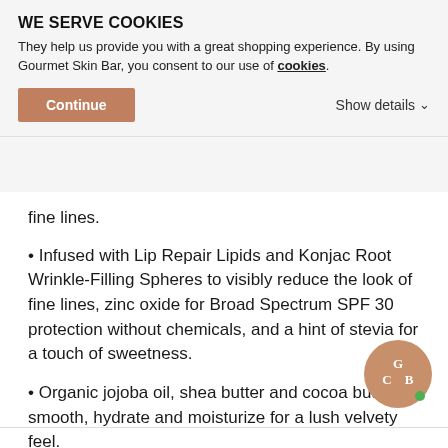WE SERVE COOKIES
They help us provide you with a great shopping experience. By using Gourmet Skin Bar, you consent to our use of cookies.
Continue | Show details
fine lines.
Infused with Lip Repair Lipids and Konjac Root Wrinkle-Filling Spheres to visibly reduce the look of fine lines, zinc oxide for Broad Spectrum SPF 30 protection without chemicals, and a hint of stevia for a touch of sweetness.
Organic jojoba oil, shea butter and cocoa butter smooth, hydrate and moisturize for a lush velvety feel.
2.8 g
All Natural + Certified Organic | UV Chemical Free | Free | Vegan
[Figure (logo): Gourmet Skin Bar circular logo in tan/brown color with GBC initials and a small green dot]